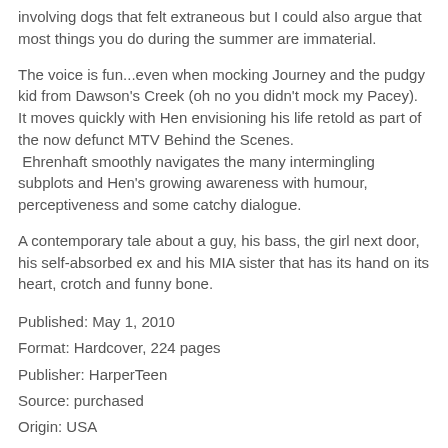involving dogs that felt extraneous but I could also argue that most things you do during the summer are immaterial.
The voice is fun...even when mocking Journey and the pudgy kid from Dawson's Creek (oh no you didn't mock my Pacey).  It moves quickly with Hen envisioning his life retold as part of the now defunct MTV Behind the Scenes.  Ehrenhaft smoothly navigates the many intermingling subplots and Hen's growing awareness with humour, perceptiveness and some catchy dialogue.
A contemporary tale about a guy, his bass, the girl next door, his self-absorbed ex and his MIA sister that has its hand on its heart, crotch and funny bone.
Published: May 1, 2010
Format: Hardcover, 224 pages
Publisher: HarperTeen
Source: purchased
Origin: USA
http://www.danielehrenhaft.com/